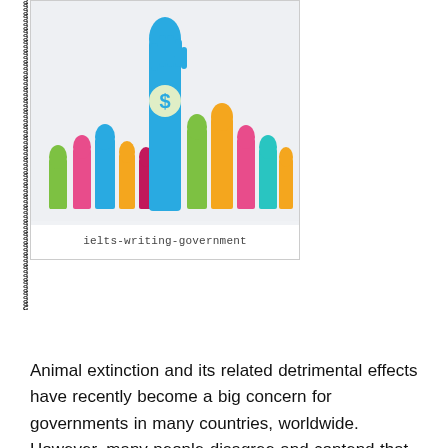[Figure (illustration): Colorful illustration of multiple raised hands in blue, green, pink, orange, and teal colors. The tallest hand in the center is blue and displays a dollar sign symbol on the palm. Text below reads 'ielts-writing-government'.]
ielts-writing-government
็็็็็็็็็็็็็็็็็็็็็็็็็็็็็็็็็็็็็็็็็็็็็็็็็็็็็็็็็็็็็็็็็็็็็็็็็็็็็็็็็็็็็็็็็็็็็็็็็็็็็็็็็็็็็็็็็็็็็็็็็็็็็็็็็็็็็็็็็็็็็็็็็็็็็็็็็็็็็็็็็็็็็็็็็็็็็็็็็็็็็็็็็็็็
Animal extinction and its related detrimental effects have recently become a big concern for governments in many countries, worldwide. However, many people disagree and contend that